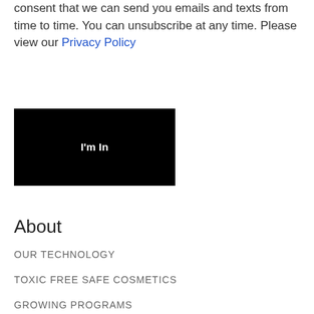By subscribing, you are giving your consent that we can send you emails and texts from time to time. You can unsubscribe at any time. Please view our Privacy Policy
[Figure (other): Black rectangular button with white text reading "I'm In"]
About
OUR TECHNOLOGY
TOXIC FREE SAFE COSMETICS
GROWING PROGRAMS
FARM HERS
WELL AGING